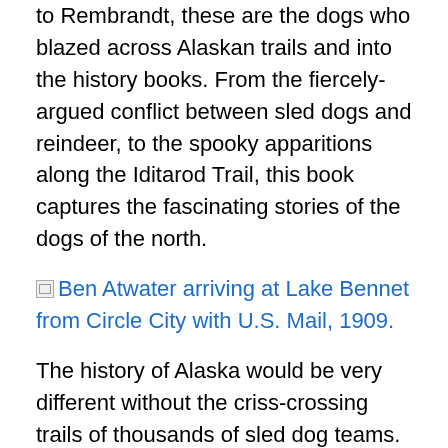to Rembrandt, these are the dogs who blazed across Alaskan trails and into the history books. From the fiercely-argued conflict between sled dogs and reindeer, to the spooky apparitions along the Iditarod Trail, this book captures the fascinating stories of the dogs of the north.
[Figure (other): Broken image placeholder followed by blue hyperlink text: Ben Atwater arriving at Lake Bennet from Circle City with U.S. Mail, 1909.]
The history of Alaska would be very different without the criss-crossing trails of thousands of sled dog teams. Sifting through hundreds of photos of Alaskan dog teams makes clear their important role in the history of the northland. Before cars and trucks, there were sled dogs. Before ships, trains, and airplanes, there were sled dogs. In every part of this great land, from the misty fjords of southeastern Alaska to the farthest northern tip of the